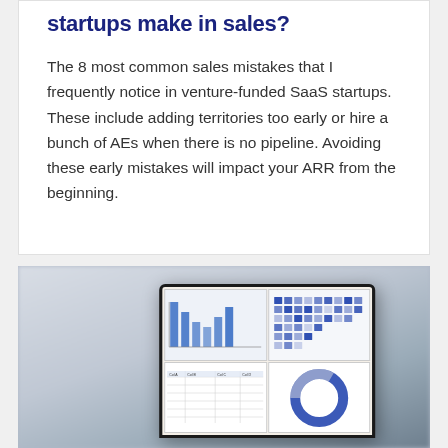startups make in sales?
The 8 most common sales mistakes that I frequently notice in venture-funded SaaS startups. These include adding territories too early or hire a bunch of AEs when there is no pipeline. Avoiding these early mistakes will impact your ARR from the beginning.
[Figure (photo): Photo of a laptop displaying a business analytics dashboard with bar charts, a heatmap grid of blue squares, a data table, a world map, and a donut chart on the screen. The laptop is on a desk in a blurred office/home background.]